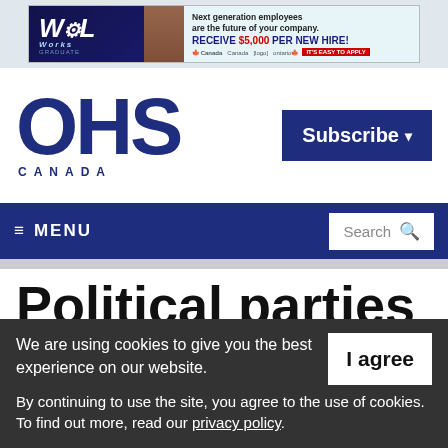[Figure (screenshot): WiL Works advertisement banner: Next generation employees are the future of your company. RECEIVE $5,000 PER NEW HIRE!]
[Figure (logo): OHS Canada logo in dark navy blue, large bold OHS letters with CANADA below]
[Figure (screenshot): Subscribe button (dark navy blue) on the right side of the header]
≡ MENU | Search
Political parties split
We are using cookies to give you the best experience on our website. By continuing to use the site, you agree to the use of cookies. To find out more, read our privacy policy.